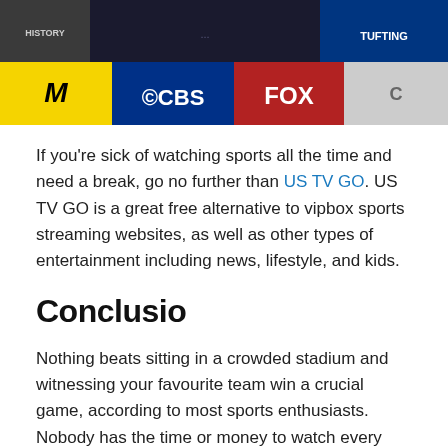[Figure (photo): A collage of TV channel logos including MTV, CBS, FOX, History, and others on colorful tiles against a dark background.]
If you're sick of watching sports all the time and need a break, go no further than US TV GO. US TV GO is a great free alternative to vipbox sports streaming websites, as well as other types of entertainment including news, lifestyle, and kids.
Conclusio
Nothing beats sitting in a crowded stadium and witnessing your favourite team win a crucial game, according to most sports enthusiasts. Nobody has the time or money to watch every single game in person, so internet streaming sites like vipbox are a godsend.